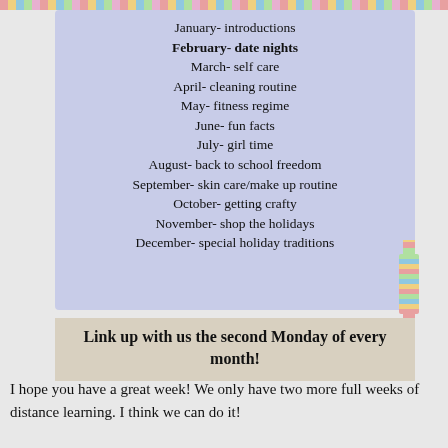January- introductions
February- date nights
March- self care
April- cleaning routine
May- fitness regime
June- fun facts
July- girl time
August- back to school freedom
September- skin care/make up routine
October- getting crafty
November- shop the holidays
December- special holiday traditions
Link up with us the second Monday of every month!
I hope you have a great week! We only have two more full weeks of distance learning. I think we can do it!